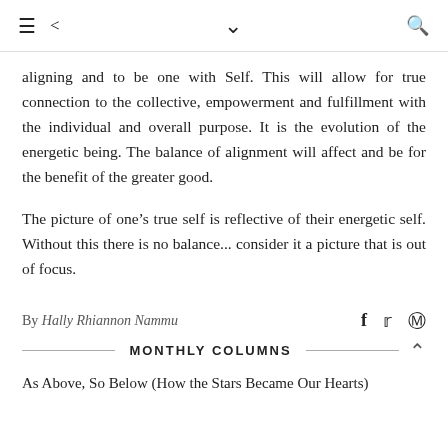≡ < ∨ 🔍
aligning and to be one with Self. This will allow for true connection to the collective, empowerment and fulfillment with the individual and overall purpose. It is the evolution of the energetic being. The balance of alignment will affect and be for the benefit of the greater good.
The picture of one's true self is reflective of their energetic self. Without this there is no balance... consider it a picture that is out of focus.
By Hally Rhiannon Nammu
MONTHLY COLUMNS
As Above, So Below (How the Stars Became Our Hearts)